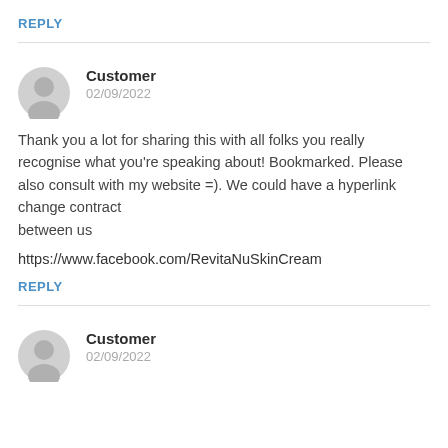REPLY
Customer
02/09/2022
Thank you a lot for sharing this with all folks you really recognise what you're speaking about! Bookmarked. Please also consult with my website =). We could have a hyperlink change contract
between us
https://www.facebook.com/RevitaNuSkinCream
REPLY
Customer
02/09/2022